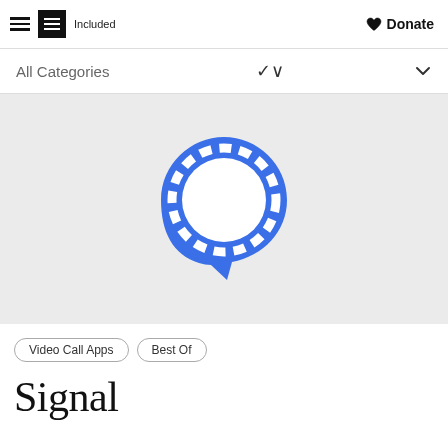Included | Donate
All Categories
[Figure (logo): Signal app logo: a blue speech bubble with dashed white outline on a light gray background]
Video Call Apps
Best Of
Signal